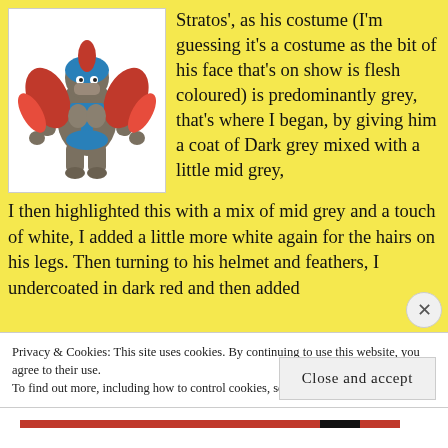[Figure (photo): Action figure of Stratos from Masters of the Universe, with grey body, red feathered wings, blue helmet and harness.]
Stratos', as his costume (I'm guessing it's a costume as the bit of his face that's on show is flesh coloured) is predominantly grey, that's where I began, by giving him a coat of Dark grey mixed with a little mid grey, I then highlighted this with a mix of mid grey and a touch of white, I added a little more white again for the hairs on his legs. Then turning to his helmet and feathers, I undercoated in dark red and then added
Privacy & Cookies: This site uses cookies. By continuing to use this website, you agree to their use.
To find out more, including how to control cookies, see here: Cookie Policy